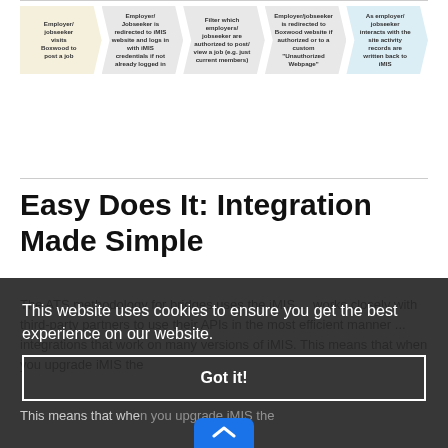[Figure (flowchart): Five-step process flowchart with arrow-shaped boxes: 1) Employer/jobseeker visits Boxwood to post a job, 2) Employer/Jobseeker is redirected to iMIS website and logs in with iMIS credentials if not already logged in, 3) Filter which employers/jobseeker are authorized to post/view a job (e.g. just current members), 4) Employer/jobseeker is redirected to Boxwood website if authorized or to a custom 'Unauthorized Webpage', 5) As employer/jobseeker interacts with the site activity records are written back to iMIS]
Easy Does It: Integration Made Simple
The ATS methodology for bridges uses the iMIS ... works closely with third-party partners to use their APIs in the most efficient manner ... integrations that work on many versions of iMIS. This means that when you upgrade iMIS the